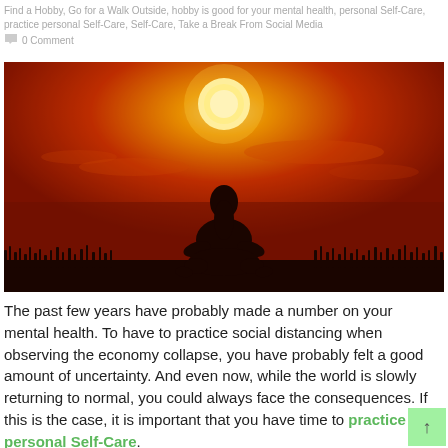Find a Hobby, Go for a Walk Outside, hobby is good for your mental health, personal Self-Care, practice personal Self-Care, Self-Care, Take a Break From Social Media    0 Comment
[Figure (photo): Silhouette of a person sitting in a meditation/yoga lotus pose against a vivid orange sunset sky, with grass silhouettes at the bottom.]
The past few years have probably made a number on your mental health. To have to practice social distancing when observing the economy collapse, you have probably felt a good amount of uncertainty. And even now, while the world is slowly returning to normal, you could always face the consequences. If this is the case, it is important that you have time to practice personal Self-Care.